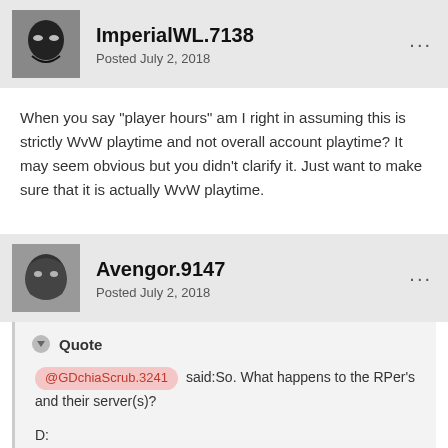ImperialWL.7138 Posted July 2, 2018
When you say "player hours" am I right in assuming this is strictly WvW playtime and not overall account playtime? It may seem obvious but you didn't clarify it. Just want to make sure that it is actually WvW playtime.
Avengor.9147 Posted July 2, 2018
Quote @GDchiaScrub.3241 said:So. What happens to the RPer's and their server(s)?

D:
What does wvw and RP have to do with each other? Server only matters